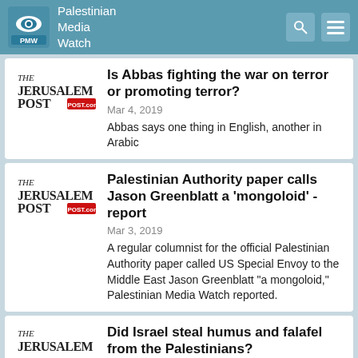Palestinian Media Watch
Is Abbas fighting the war on terror or promoting terror?
Mar 4, 2019
Abbas says one thing in English, another in Arabic
Palestinian Authority paper calls Jason Greenblatt a 'mongoloid' - report
Mar 3, 2019
A regular columnist for the official Palestinian Authority paper called US Special Envoy to the Middle East Jason Greenblatt "a mongoloid," Palestinian Media Watch reported.
Did Israel steal humus and falafel from the Palestinians?
Feb 24, 2019